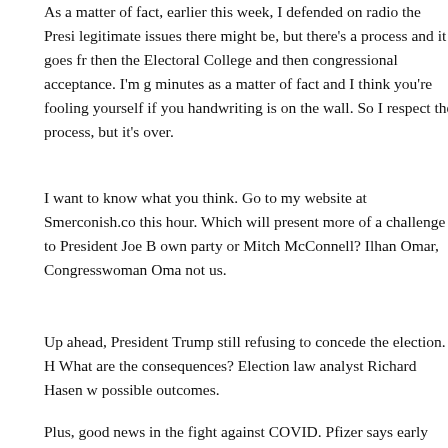As a matter of fact, earlier this week, I defended on radio the Presi... legitimate issues there might be, but there's a process and it goes fr... then the Electoral College and then congressional acceptance. I'm g... minutes as a matter of fact and I think you're fooling yourself if you... handwriting is on the wall. So I respect the process, but it's over.
I want to know what you think. Go to my website at Smerconish.co... this hour. Which will present more of a challenge to President Joe B... own party or Mitch McConnell? Ilhan Omar, Congresswoman Oma... not us.
Up ahead, President Trump still refusing to concede the election. H... What are the consequences? Election law analyst Richard Hasen w... possible outcomes.
Plus, good news in the fight against COVID. Pfizer says early analy... be M... are effective and li...